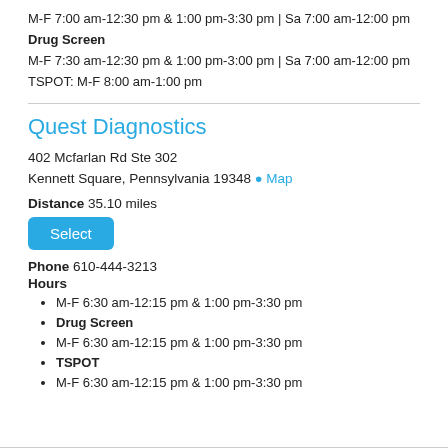M-F 7:00 am-12:30 pm & 1:00 pm-3:30 pm | Sa 7:00 am-12:00 pm
Drug Screen
M-F 7:30 am-12:30 pm & 1:00 pm-3:00 pm | Sa 7:00 am-12:00 pm
TSPOT: M-F 8:00 am-1:00 pm
Quest Diagnostics
402 Mcfarlan Rd Ste 302
Kennett Square, Pennsylvania 19348 Map
Distance 35.10 miles
Select
Phone 610-444-3213
Hours
M-F 6:30 am-12:15 pm & 1:00 pm-3:30 pm
Drug Screen
M-F 6:30 am-12:15 pm & 1:00 pm-3:30 pm
TSPOT
M-F 6:30 am-12:15 pm & 1:00 pm-3:30 pm